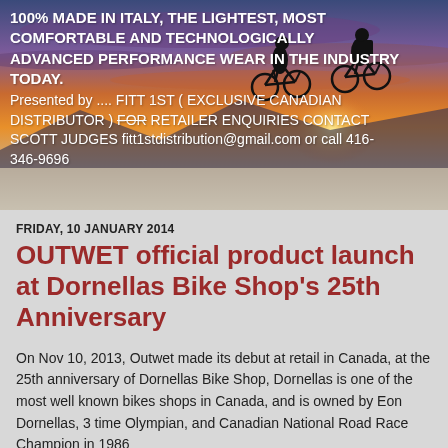[Figure (photo): Sunset/sunrise sky with orange and purple clouds, two cyclists silhouetted on bikes against a bright horizon with mountains in the background]
100% MADE IN ITALY, THE LIGHTEST, MOST COMFORTABLE AND TECHNOLOGICALLY ADVANCED PERFORMANCE WEAR IN THE INDUSTRY TODAY. Presented by .... FITT 1ST ( EXCLUSIVE CANADIAN DISTRIBUTOR ) FOR RETAILER ENQUIRIES CONTACT SCOTT JUDGES fitt1stdistribution@gmail.com or call 416-346-9696
FRIDAY, 10 JANUARY 2014
OUTWET official product launch at Dornellas Bike Shop's 25th Anniversary
On Nov 10, 2013, Outwet made its debut at retail in Canada, at the 25th anniversary of Dornellas Bike Shop, Dornellas is one of the most well known bikes shops in Canada, and is owned by Eon Dornellas, 3 time Olympian, and Canadian National Road Race Champion in 1986